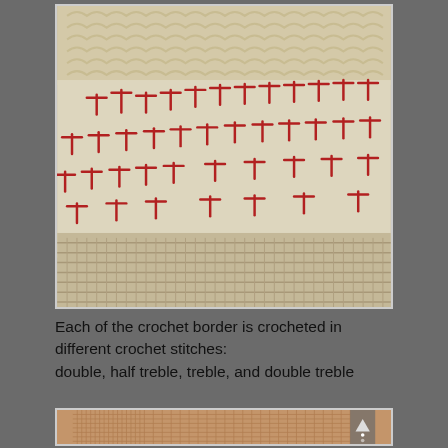[Figure (photo): Close-up photograph of cream/white crochet fabric with red embroidery stitches arranged in T-shapes across the surface, showing textured crochet border at top and bottom edges.]
Each of the crochet border is crocheted in different crochet stitches:
double, half treble, treble, and double treble
[Figure (photo): Partial view of burlap or woven fabric texture in tan/beige color, with white dot navigation arrows visible at right side.]